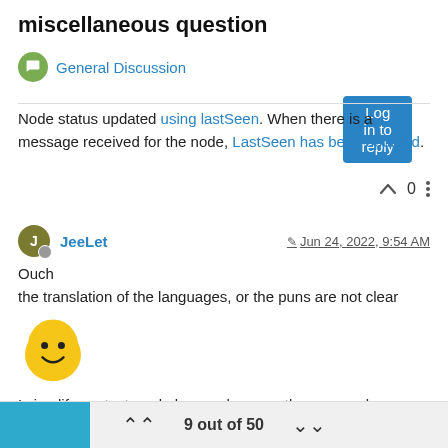miscellaneous question
General Discussion
Log in to reply
Node status updated using lastSeen. When there is a message received for the node, LastSeen has been updated.
0
JeeLet  Jun 24, 2022, 9:54 AM
Ouch
the translation of the languages, or the puns are not clear
[Figure (illustration): Yellow smiley face emoji]
I simplify my text, and also you have partly answered my question.
how to use "LastSeen"
9 out of 50